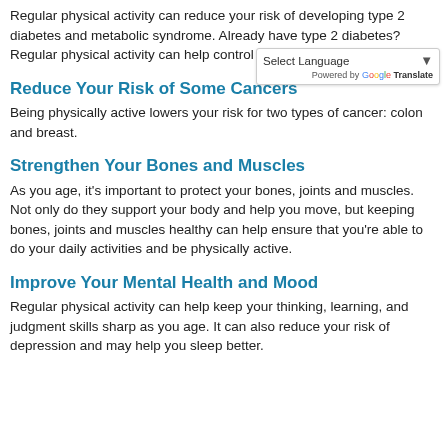Regular physical activity can reduce your risk of developing type 2 diabetes and metabolic syndrome. Already have type 2 diabetes? Regular physical activity can help control your blood glucose levels.
Reduce Your Risk of Some Cancers
Being physically active lowers your risk for two types of cancer: colon and breast.
Strengthen Your Bones and Muscles
As you age, it's important to protect your bones, joints and muscles. Not only do they support your body and help you move, but keeping bones, joints and muscles healthy can help ensure that you're able to do your daily activities and be physically active.
Improve Your Mental Health and Mood
Regular physical activity can help keep your thinking, learning, and judgment skills sharp as you age. It can also reduce your risk of depression and may help you sleep better.